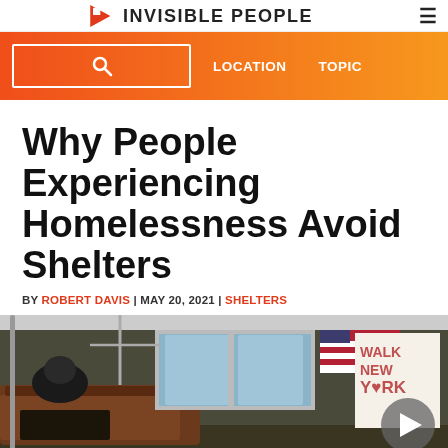Invisible People
[Figure (logo): Invisible People website navigation bar with search box, LOCATION and TOPIC links on orange-red gradient background]
Why People Experiencing Homelessness Avoid Shelters
BY ROBERT DAVIS | MAY 20, 2021 | SHELTERS
[Figure (photo): Interior of a New York City subway car with seats and advertisements including an American flag image and a Walk New York poster. A person is seated in the foreground with belongings.]